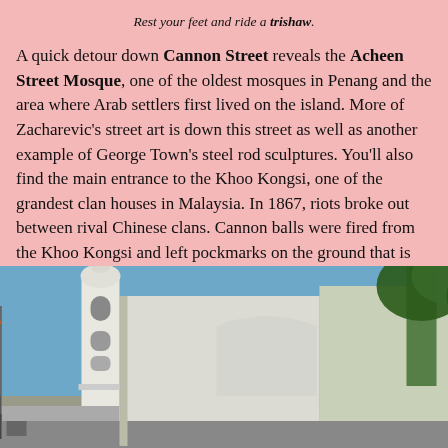Rest your feet and ride a trishaw.
A quick detour down Cannon Street reveals the Acheen Street Mosque, one of the oldest mosques in Penang and the area where Arab settlers first lived on the island. More of Zacharevic's street art is down this street as well as another example of George Town's steel rod sculptures. You'll also find the main entrance to the Khoo Kongsi, one of the grandest clan houses in Malaysia. In 1867, riots broke out between rival Chinese clans. Cannon balls were fired from the Khoo Kongsi and left pockmarks on the ground that is now aptly named Cannon Street.
[Figure (photo): Street-level photograph of the Acheen Street Mosque showing its white minaret tower and adjacent white-walled buildings under a blue sky, with trees visible on the right.]